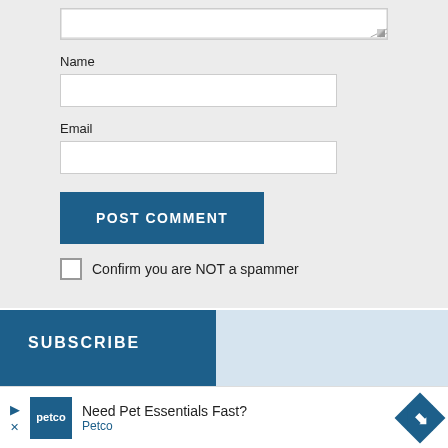[Figure (screenshot): Partial textarea input at top of form (truncated)]
Name
[Figure (screenshot): Name text input field]
Email
[Figure (screenshot): Email text input field]
[Figure (screenshot): POST COMMENT button (dark blue)]
Confirm you are NOT a spammer
SUBSCRIBE
SciTechDaily: Home of the best science and technology
[Figure (screenshot): Petco advertisement banner: Need Pet Essentials Fast? Petco]